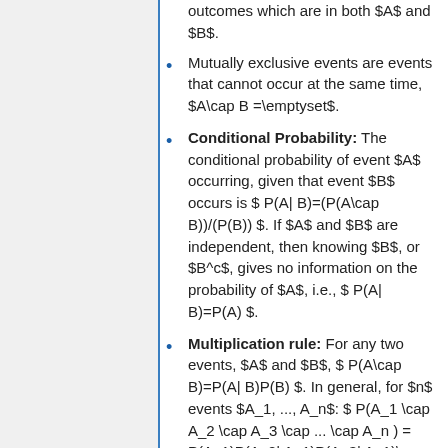outcomes which are in both $A$ and $B$.
Mutually exclusive events are events that cannot occur at the same time, $A\cap B =\emptyset$.
Conditional Probability: The conditional probability of event $A$ occurring, given that event $B$ occurs is $ P(A| B)=(P(A\cap B))/(P(B)) $. If $A$ and $B$ are independent, then knowing $B$, or $B^c$, gives no information on the probability of $A$, i.e., $ P(A| B)=P(A) $.
Multiplication rule: For any two events, $A$ and $B$, $ P(A\cap B)=P(A| B)P(B) $. In general, for $n$ events $A_1, ..., A_n$: $ P(A_1 \cap A_2 \cap A_3 \cap ... \cap A_n ) = P(A_1)P(A_2| A_1)P(A_3| A_1)\cap